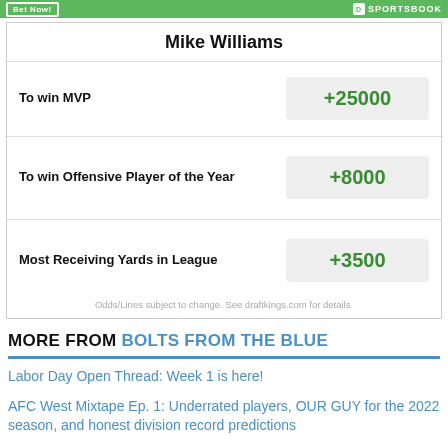Mike Williams
| Bet Type | Odds |
| --- | --- |
| To win MVP | +25000 |
| To win Offensive Player of the Year | +8000 |
| Most Receiving Yards in League | +3500 |
Odds/Lines subject to change. See draftkings.com for details.
MORE FROM BOLTS FROM THE BLUE
Labor Day Open Thread: Week 1 is here!
AFC West Mixtape Ep. 1: Underrated players, OUR GUY for the 2022 season, and honest division record predictions